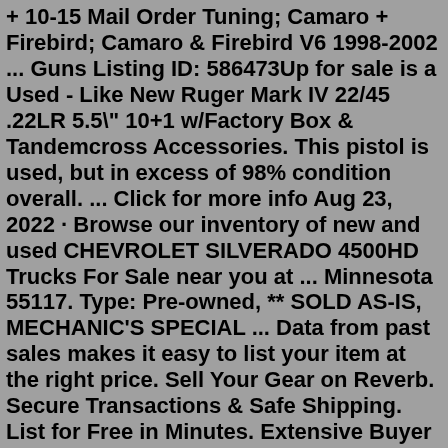+ 10-15 Mail Order Tuning; Camaro + Firebird; Camaro & Firebird V6 1998-2002 ... Guns Listing ID: 586473Up for sale is a Used - Like New Ruger Mark IV 22/45 .22LR 5.5" 10+1 w/Factory Box & Tandemcross Accessories. This pistol is used, but in excess of 98% condition overall. ... Click for more info Aug 23, 2022 · Browse our inventory of new and used CHEVROLET SILVERADO 4500HD Trucks For Sale near you at ... Minnesota 55117. Type: Pre-owned, ** SOLD AS-IS, MECHANIC'S SPECIAL ... Data from past sales makes it easy to list your item at the right price. Sell Your Gear on Reverb. Secure Transactions & Safe Shipping. List for Free in Minutes. Extensive Buyer Community.The TrailBlazer line-up grows in more ways than one with the introduction of the EXT model. On the 2003 Chevrolet Suburban and Tahoe, StabiliTrak electronic stability control is now available. The Chevrolet Corvette's five decades of construction is being marked in 2003 with a 50th anniversary model. Houses & Townhouses for Sale. Commercial Vehicles